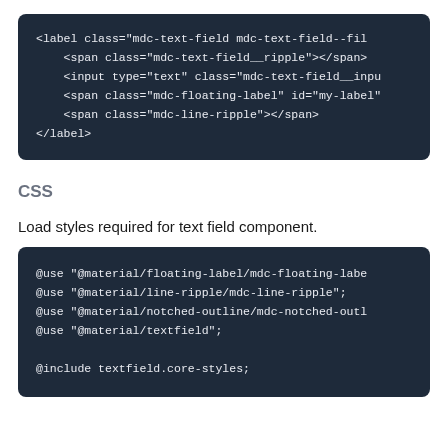[Figure (screenshot): Dark-themed code block showing HTML markup for a label element with mdc-text-field classes]
CSS
Load styles required for text field component.
[Figure (screenshot): Dark-themed code block showing SCSS @use and @include statements for material text field styles]